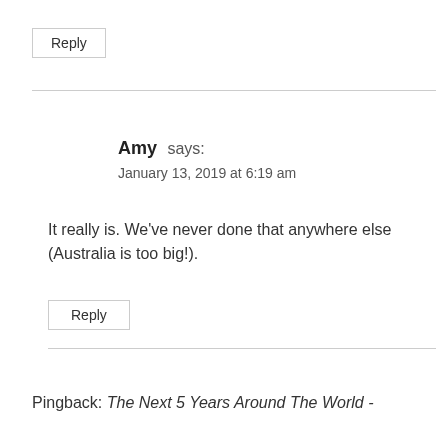Reply
Amy says:
January 13, 2019 at 6:19 am
It really is. We've never done that anywhere else (Australia is too big!).
Reply
Pingback: The Next 5 Years Around The World -